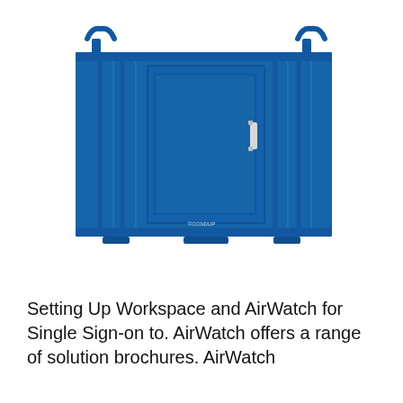[Figure (photo): A blue metal storage container/unit with corrugated sides, a single door with a handle on the right side, and lifting hooks at the top corners. The container is photographed from the front at a slight angle. A small logo/text is visible on the bottom center. Brand: CONDUP or similar.]
Setting Up Workspace and AirWatch for Single Sign-on to. AirWatch offers a range of solution brochures. AirWatch provides a range of solution brochures. AirWatch